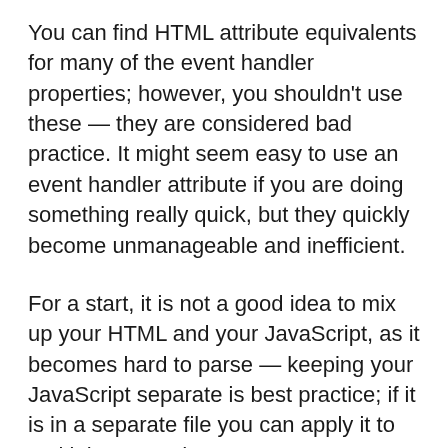You can find HTML attribute equivalents for many of the event handler properties; however, you shouldn't use these — they are considered bad practice. It might seem easy to use an event handler attribute if you are doing something really quick, but they quickly become unmanageable and inefficient.
For a start, it is not a good idea to mix up your HTML and your JavaScript, as it becomes hard to parse — keeping your JavaScript separate is best practice; if it is in a separate file you can apply it to multiple HTML documents.
Even in a single file, inline event handlers are not a good idea. One button is OK, but what if you had 100 buttons? You'd have to add 100 attributes to the file; it would quickly turn into a maintenance nightmare. With JavaScript, you could easily add an event handler